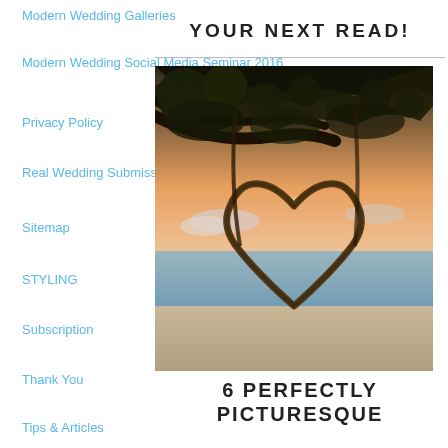Modern Wedding Galleries
Modern Wedding Social Media Seminar 2016
Privacy Policy
Real Wedding Submission
Sitemap
STYLING
Subscription
Thank You
The Ultim…on
Tips & Articles
YOUR NEXT READ!
[Figure (photo): A heart shape made of vines/branches on a beach at sunset, with ocean and sky in the background, trees overhead]
6 PERFECTLY PICTURESQUE